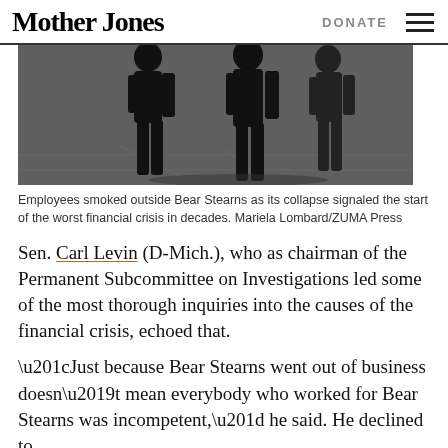Mother Jones | DONATE
[Figure (photo): Black and white photo of silhouetted employees smoking outside Bear Stearns building]
Employees smoked outside Bear Stearns as its collapse signaled the start of the worst financial crisis in decades. Mariela Lombard/ZUMA Press
Sen. Carl Levin (D-Mich.), who as chairman of the Permanent Subcommittee on Investigations led some of the most thorough inquiries into the causes of the financial crisis, echoed that.
“Just because Bear Stearns went out of business doesn’t mean everybody who worked for Bear Stearns was incompetent,” he said. He declined to